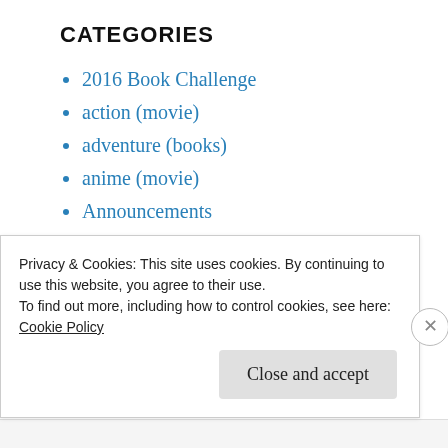CATEGORIES
2016 Book Challenge
action (movie)
adventure (books)
anime (movie)
Announcements
Ask The Blogger
biography (books)
biopic (movie)
Book Buzz
Privacy & Cookies: This site uses cookies. By continuing to use this website, you agree to their use.
To find out more, including how to control cookies, see here:
Cookie Policy
Close and accept